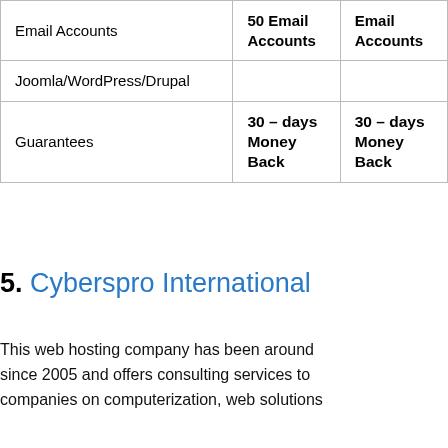|  | 50 Email Accounts | Email Accounts |
| --- | --- | --- |
| Email Accounts | 50 Email Accounts | Email Accounts |
| Joomla/WordPress/Drupal |  |  |
| Guarantees | 30 – days Money Back | 30 – days Money Back |
5. Cyberspro International
This web hosting company has been around since 2005 and offers consulting services to companies on computerization, web solutions